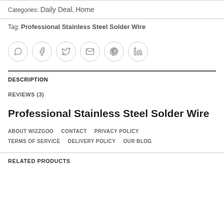Categories: Daily Deal, Home
Tag: Professional Stainless Steel Solder Wire
[Figure (other): Social share icons row: WhatsApp, Facebook, Twitter, Email, Pinterest, LinkedIn]
DESCRIPTION
REVIEWS (3)
Professional Stainless Steel Solder Wire
ABOUT WIZZGOO   CONTACT   PRIVACY POLICY   TERMS OF SERVICE   DELIVERY POLICY   OUR BLOG
RELATED PRODUCTS